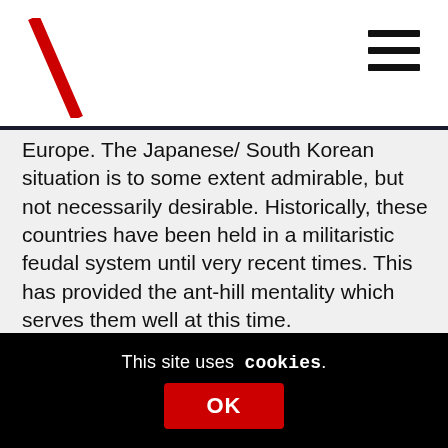[Figure (logo): Red diagonal backslash logo on white background]
Europe. The Japanese/ South Korean situation is to some extent admirable, but not necessarily desirable. Historically, these countries have been held in a militaristic feudal system until very recent times. This has provided the ant-hill mentality which serves them well at this time.
Scotland however, has a history of bloody clan infighting, sectarian divides, political and class partitions and rule by England to ensure that cohesive spirit will be hard to inspire. In general terms, we may be willing to cut our cape to suit our cloth, but it's a simple fact of life, that the moral high ground is usually
This site uses cookies.
OK